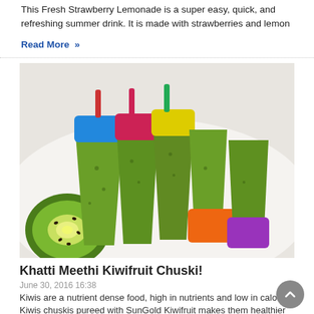This Fresh Strawberry Lemonade is a super easy, quick, and refreshing summer drink. It is made with strawberries and lemon
Read More »
[Figure (photo): Kiwifruit chuskis (popsicles) with colorful silicone molds in blue, pink, yellow, orange, and purple, arranged with a sliced kiwi fruit in the foreground on a white plate]
Khatti Meethi Kiwifruit Chuski!
June 30, 2016 16:38
Kiwis are a nutrient dense food, high in nutrients and low in calories. Kiwis chuskis pureed with SunGold Kiwifruit makes them healthier
Read More »